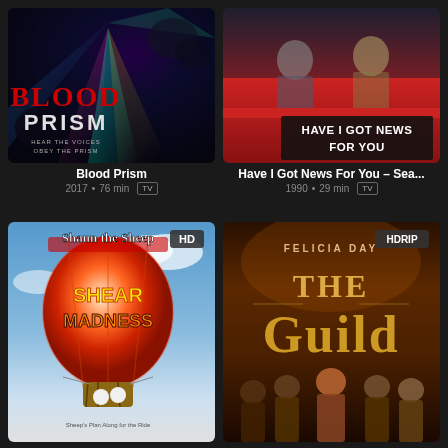[Figure (screenshot): Blood Prism movie poster thumbnail - dark fantasy/horror with colorful light beams and creatures, text BLOOD PRISM in red and white]
Blood Prism
2017 • 76 min  TV
[Figure (screenshot): Have I Got News For You TV show thumbnail - two men in suits at a desk, show title in white text on black background]
Have I Got News For You – Sea...
1990 • 29 min  TV
[Figure (screenshot): Shaun the Sheep: Shear Madness movie poster thumbnail - animated hot air balloon with sheep characters, HD badge]
[Figure (screenshot): The Guild TV show thumbnail - Felicia Day and cast members, dark fantasy background, HDRIP badge]